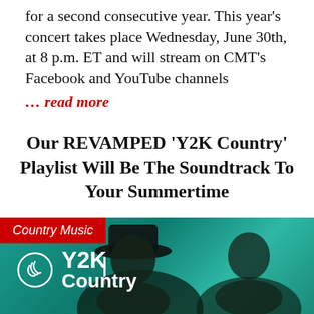for a second consecutive year. This year's concert takes place Wednesday, June 30th, at 8 p.m. ET and will stream on CMT's Facebook and YouTube channels
... read more
Our REVAMPED 'Y2K Country' Playlist Will Be The Soundtrack To Your Summertime
[Figure (photo): Photo with teal/green background showing two men smiling, with 'Country Music' red badge overlay at top left and Y2K Country playlist logo with white icon]